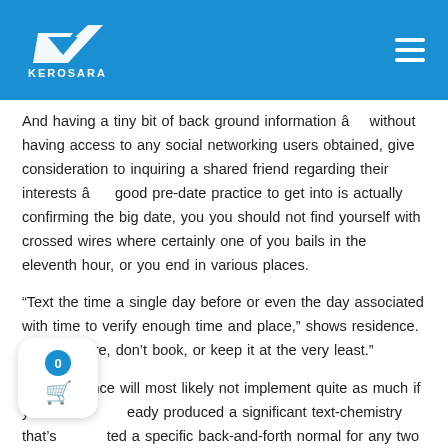KEROSARA [logo] [hamburger menu]
And having a tiny bit of back ground information â without having access to any social networking users obtained, give consideration to inquiring a shared friend regarding their interests â good pre-date practice to get into is actually confirming the big date, you you should not find yourself with crossed wires where certainly one of you bails in the eleventh hour, or you end in various places.
“Text the time a single day before or even the day associated with time to verify enough time and place,” shows residence. “Furthermore, don’t book, or keep it at the very least.”
That guidance will most likely not implement quite as much if you have already produced a significant text-chemistry that’s created a specific back-and-forth normal for any two of you. If you’re family member visitors, intimidating the time from inside the lead-up to the genuine conference could be a certain